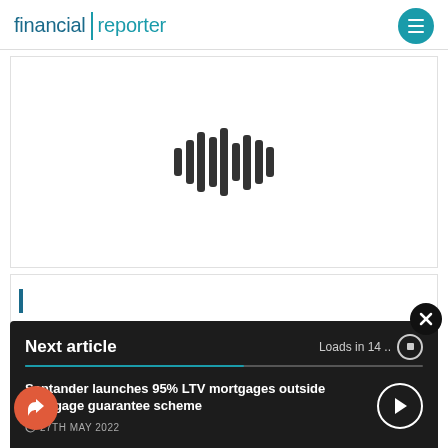financial | reporter
[Figure (other): Audio waveform icon — a stylized audio player waveform with vertical bars of varying heights representing a sound/podcast player interface]
Next article
Loads in 14 ..
Santander launches 95% LTV mortgages outside mortgage guarantee scheme
27TH MAY 2022